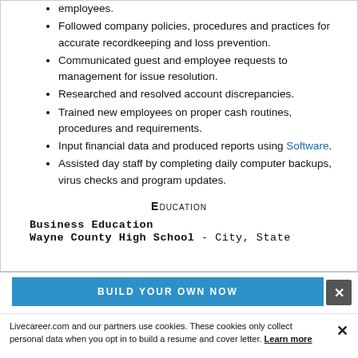employees.
Followed company policies, procedures and practices for accurate recordkeeping and loss prevention.
Communicated guest and employee requests to management for issue resolution.
Researched and resolved account discrepancies.
Trained new employees on proper cash routines, procedures and requirements.
Input financial data and produced reports using Software.
Assisted day staff by completing daily computer backups, virus checks and program updates.
Education
Business Education
Wayne County High School - City, State
[Figure (other): Blue button banner with text BUILD YOUR OWN NOW]
Livecareer.com and our partners use cookies. These cookies only collect personal data when you opt in to build a resume and cover letter. Learn more